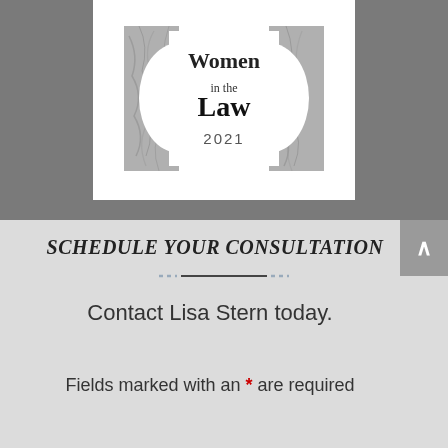[Figure (logo): Women in the Law 2021 logo — circular emblem with marble texture background, serif text reading 'Women in the Law 2021']
SCHEDULE YOUR CONSULTATION
Contact Lisa Stern today.
Fields marked with an * are required